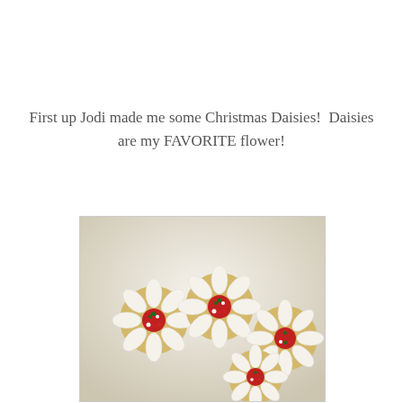First up Jodi made me some Christmas Daisies!  Daisies are my FAVORITE flower!
[Figure (photo): Photo of Christmas Daisy cookies decorated with white icing petals and red, green, and white sprinkles in the center, arranged on a white plate.]